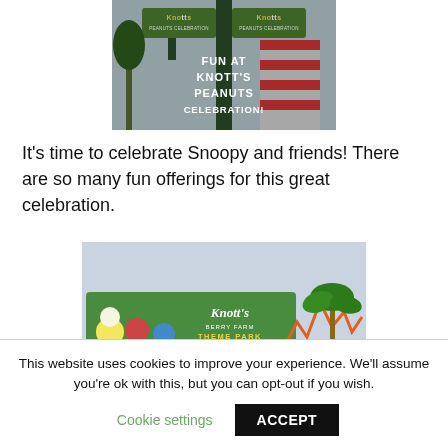[Figure (photo): Photo of Knott's Berry Farm sign with Peanuts Celebration banners on a lamp post, with overlay text reading 'FUN AT KNOTT'S PEANUTS CELEBRATION!']
It's time to celebrate Snoopy and friends! There are so many fun offerings for this great celebration.
[Figure (photo): Photo of Knott's Berry Farm theme park entrance sign with colorful Peanuts characters, a roller coaster and palm trees in the background.]
This website uses cookies to improve your experience. We'll assume you're ok with this, but you can opt-out if you wish.